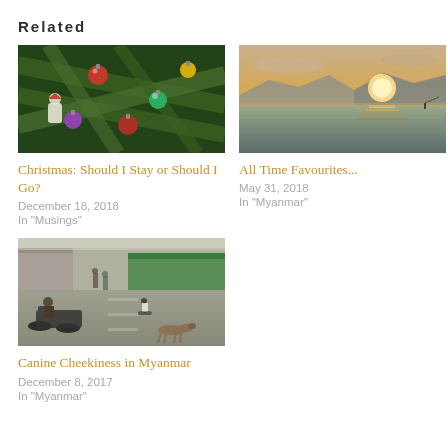Related
[Figure (photo): Close-up of a Christmas tree with ornaments including red, green, gold, and purple baubles and a small figurine]
Christmas: Should I Stay or Should I Go?
December 18, 2018
In "Musings"
[Figure (photo): Sunset over a lake or sea with silhouetted mountains in the background and golden light reflecting on the water]
All Time Favourites...
May 31, 2018
In "Myanmar"
[Figure (photo): Street scene in Myanmar with motorbikes, people, a dog lying in the road, and green market stalls in the background]
Canine Cheekiness in Myanmar
December 8, 2017
In "Myanmar"